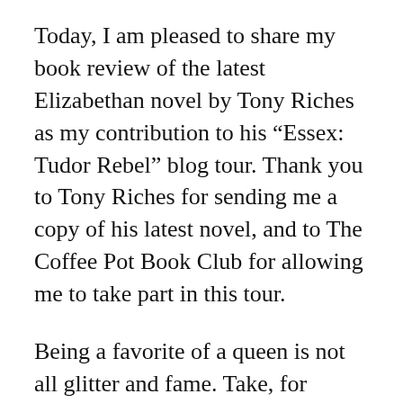Today, I am pleased to share my book review of the latest Elizabethan novel by Tony Riches as my contribution to his “Essex: Tudor Rebel” blog tour. Thank you to Tony Riches for sending me a copy of his latest novel, and to The Coffee Pot Book Club for allowing me to take part in this tour.
Being a favorite of a queen is not all glitter and fame. Take, for example, the men who were considered the favorites of Elizabeth I. They had to deal with a queen whose temper and praise were interchangeable. One of the most famous examples of a